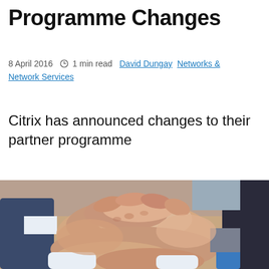Programme Changes
8 April 2016   1 min read   David Dungay   Networks & Network Services
Citrix has announced changes to their partner programme
[Figure (photo): Multiple people in business attire with hands stacked together in a teamwork gesture, photographed from above]